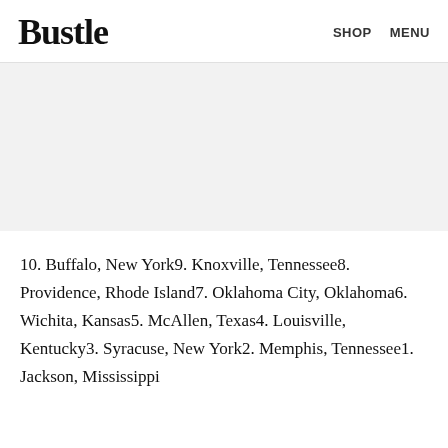Bustle  SHOP  MENU
[Figure (photo): Image placeholder area with light gray background]
10. Buffalo, New York9. Knoxville, Tennessee8. Providence, Rhode Island7. Oklahoma City, Oklahoma6. Wichita, Kansas5. McAllen, Texas4. Louisville, Kentucky3. Syracuse, New York2. Memphis, Tennessee1. Jackson, Mississippi